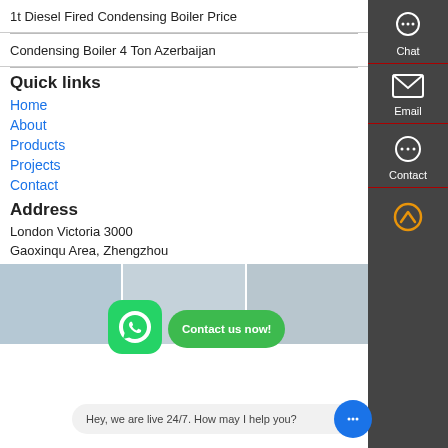1t Diesel Fired Condensing Boiler Price
Condensing Boiler 4 Ton Azerbaijan
Quick links
Home
About
Products
Projects
Contact
Address
London Victoria 3000
Gaoxinqu Area, Zhengzhou
Henan China
Telephone :0086-371-60922096
Email : price@boilermanufactory
Products
[Figure (screenshot): Bottom strip showing product images of boilers/heating equipment]
[Figure (screenshot): Sidebar with Chat, Email, Contact icons on dark background]
[Figure (screenshot): WhatsApp icon overlay and Contact us now button]
Hey, we are live 24/7. How may I help you?